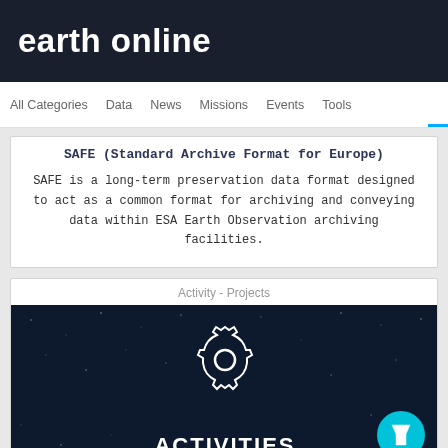earth online
All Categories   Data   News   Missions   Events   Tools
SAFE (Standard Archive Format for Europe)
SAFE is a long-term preservation data format designed to act as a common format for archiving and conveying data within ESA Earth Observation archiving facilities.
Activity - Projects
[Figure (illustration): Dark blue background with star/speckle pattern. A white gear/cog icon is centered, and below it the text ACTIVITIES in bold white uppercase letters. A cyan circular filter button is in the lower right corner with a funnel/filter icon.]